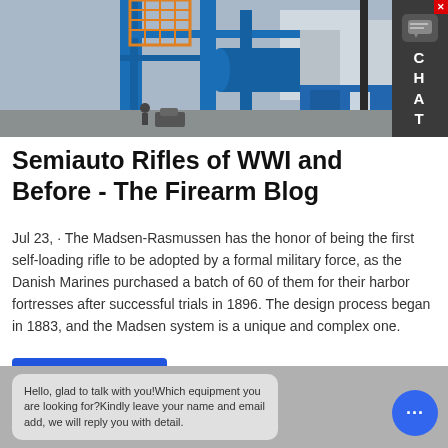[Figure (photo): Industrial/factory scene with blue metal structures, scaffolding, pipes and equipment viewed from above. Partial view cropped at top.]
Semiauto Rifles of WWI and Before - The Firearm Blog
Jul 23,  · The Madsen-Rasmussen has the honor of being the first self-loading rifle to be adopted by a formal military force, as the Danish Marines purchased a batch of 60 of them for their harbor fortresses after successful trials in 1896. The design process began in 1883, and the Madsen system is a unique and complex one.
LEARN MORE
Hello, glad to talk with you!Which equipment you are looking for?Kindly leave your name and email add, we will reply you with detail.